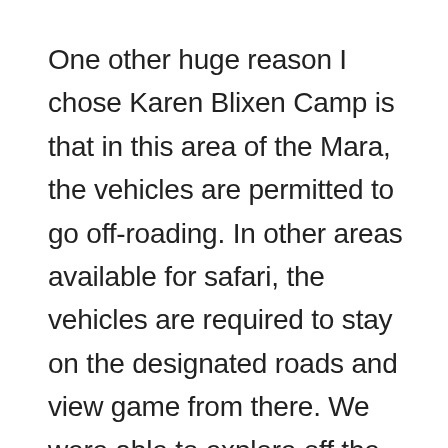One other huge reason I chose Karen Blixen Camp is that in this area of the Mara, the vehicles are permitted to go off-roading. In other areas available for safari, the vehicles are required to stay on the designated roads and view game from there. We were able to explore off the beaten path and pull right up next to the animals. This made this entire experience so much more exciting. Our open air vehicle was very comfortable for